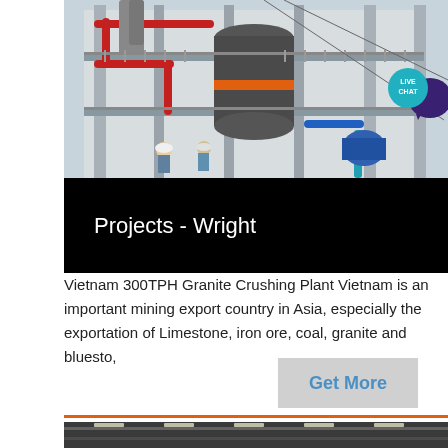[Figure (photo): Industrial granite crushing plant facility with large machinery, pipes and walkways. Workers visible at bottom.]
Projects - Wright
Vietnam 300TPH Granite Crushing Plant Vietnam is an important mining export country in Asia, especially the exportation of Limestone, iron ore, coal, granite and bluesto,
Get More
[Figure (photo): Partial view of industrial facility interior.]